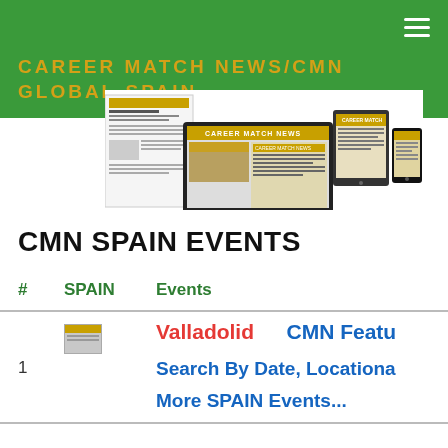CAREER MATCH NEWS/CMN GLOBAL-SPAIN
[Figure (screenshot): Screenshot of Career Match News website shown across multiple devices: desktop monitor, laptop, tablet, and smartphone with golden/yellow header branding.]
CMN SPAIN EVENTS
| # | SPAIN | Events |
| --- | --- | --- |
| 1 | Valladolid | CMN Featu...
Search By Date, Locationa...
More SPAIN Events... |